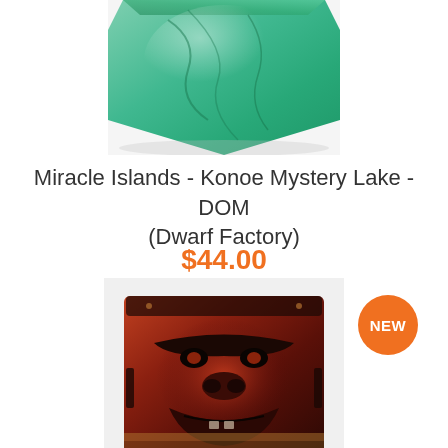[Figure (photo): Close-up of a decorative artisan keycap with green and teal resin colors, partially cropped at top]
Miracle Islands - Konoe Mystery Lake - DOM (Dwarf Factory)
$44.00
[Figure (photo): Artisan keycap shaped like a gorilla/ape face in dark red and black tones with metallic accents, cube-shaped with a 'NEW' badge in orange]
NEW